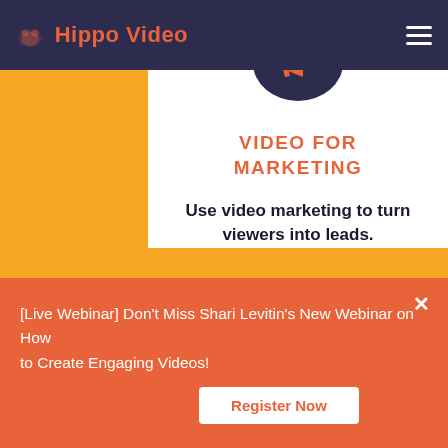Hippo Video
[Figure (screenshot): Hippo Video marketing landing page screenshot showing a white card with megaphone icon, VIDEO FOR MARKETING heading, tagline about video marketing, and an orange notification banner at the bottom with a webinar promotion and Register Now button.]
VIDEO FOR MARKETING
Use video marketing to turn viewers into leads.
[Live Webinar] Don't Miss Shari Levitin's New Webinar on How to Create Engaging Videos!
Register Now